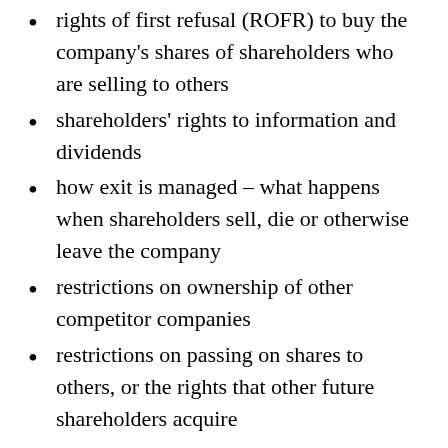rights of first refusal (ROFR) to buy the company's shares of shareholders who are selling to others
shareholders' rights to information and dividends
how exit is managed – what happens when shareholders sell, die or otherwise leave the company
restrictions on ownership of other competitor companies
restrictions on passing on shares to others, or the rights that other future shareholders acquire
jurisdiction – make sure your agreement is valid under the law of the UK (England and Wales, Scotland or Northern Ireland),